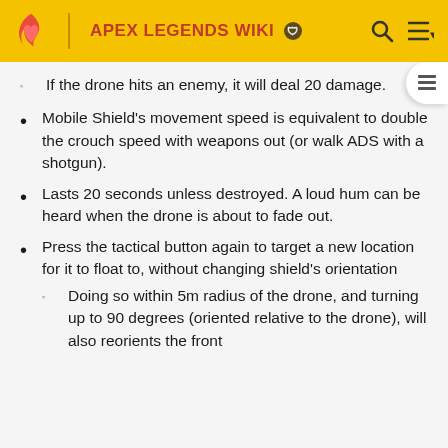APEX LEGENDS WIKI
If the drone hits an enemy, it will deal 20 damage.
Mobile Shield's movement speed is equivalent to double the crouch speed with weapons out (or walk ADS with a shotgun).
Lasts 20 seconds unless destroyed. A loud hum can be heard when the drone is about to fade out.
Press the tactical button again to target a new location for it to float to, without changing shield's orientation
Doing so within 5m radius of the drone, and turning up to 90 degrees (oriented relative to the drone), will also reorients the front